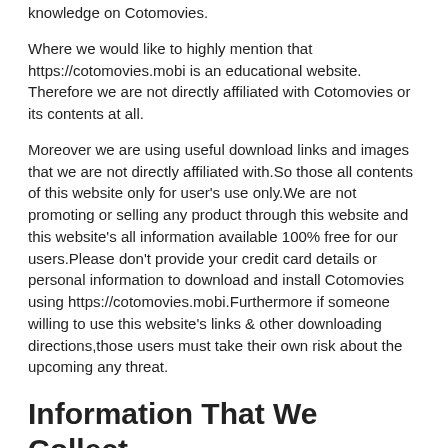knowledge on Cotomovies.
Where we would like to highly mention that https://cotomovies.mobi is an educational website. Therefore we are not directly affiliated with Cotomovies or its contents at all.
Moreover we are using useful download links and images that we are not directly affiliated with.So those all contents of this website only for user's use only.We are not promoting or selling any product through this website and this website's all information available 100% free for our users.Please don't provide your credit card details or personal information to download and install Cotomovies using https://cotomovies.mobi.Furthermore if someone willing to use this website's links & other downloading directions,those users must take their own risk about the upcoming any threat.
Information That We Collect
As an educational website we are highly willing to share our knowledge with users who are preferred to get our educational information through our website.So to provide our feedbacks on those questions or requests we have to collect following